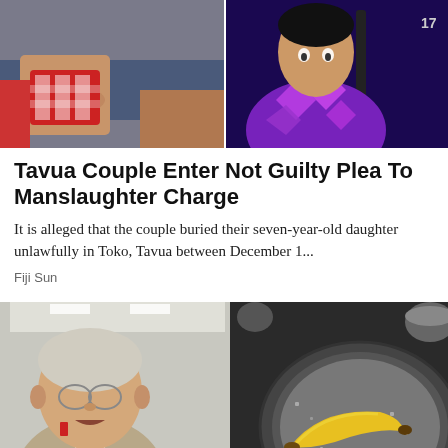[Figure (photo): Two photos side by side: left shows hands holding a woven red and white basket, right shows a person in a purple patterned shirt]
Tavua Couple Enter Not Guilty Plea To Manslaughter Charge
It is alleged that the couple buried their seven-year-old daughter unlawfully in Toko, Tavua between December 1...
Fiji Sun
[Figure (photo): Left: elderly man in suit with glasses pointing right. Right: yellow banana in a dark frying pan with tongs.]